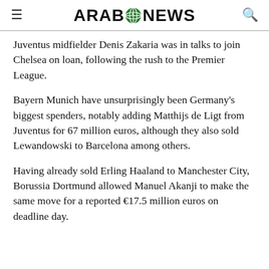ARAB NEWS
Juventus midfielder Denis Zakaria was in talks to join Chelsea on loan, following the rush to the Premier League.
Bayern Munich have unsurprisingly been Germany's biggest spenders, notably adding Matthijs de Ligt from Juventus for 67 million euros, although they also sold Lewandowski to Barcelona among others.
Having already sold Erling Haaland to Manchester City, Borussia Dortmund allowed Manuel Akanji to make the same move for a reported €17.5 million euros on deadline day.